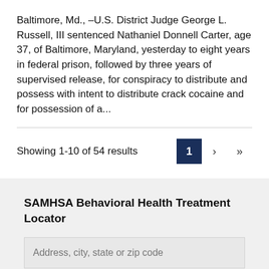Baltimore, Md., –U.S. District Judge George L. Russell, III sentenced Nathaniel Donnell Carter, age 37, of Baltimore, Maryland, yesterday to eight years in federal prison, followed by three years of supervised release, for conspiracy to distribute and possess with intent to distribute crack cocaine and for possession of a...
Showing 1-10 of 54 results
SAMHSA Behavioral Health Treatment Locator
Address, city, state or zip code